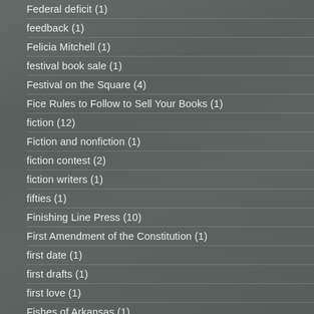Federal deficit (1)
feedback (1)
Felicia Mitchell (1)
festival book sale (1)
Festival on the Square (4)
Fice Rules to Follow to Sell Your Books (1)
fiction (12)
Fiction and nonfiction (1)
fiction contest (2)
fiction writers (1)
fifties (1)
Finishing Line Press (10)
First Amendment of the Constitution (1)
first date (1)
first drafts (1)
first love (1)
Fishes of Arkansas (1)
five mistakes (1)
five senses (1)